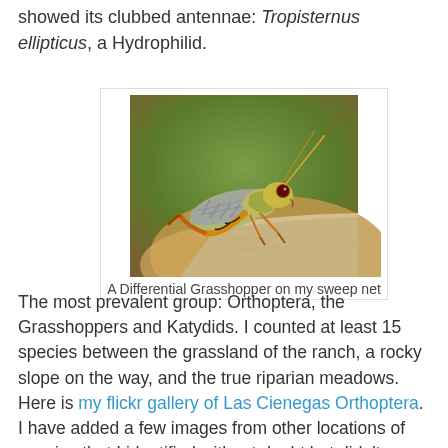showed its clubbed antennae: Tropisternus ellipticus, a Hydrophilid.
[Figure (photo): Close-up photograph of a Differential Grasshopper (Orthoptera) perched on a tan fabric sweep net, with a blurred green and brown background. The grasshopper has yellow and grey patterned markings, large compound eye, and long antennae.]
A Differential Grasshopper on my sweep net
The most prevalent group: Orthoptera, the Grasshoppers and Katydids. I counted at least 15  species between the grassland of the ranch, a rocky slope on the way, and the true riparian meadows. Here is my flickr gallery of Las Cienegas Orthoptera. I have added a few images from other locations of species that I identified without doubt but didn't photograph.